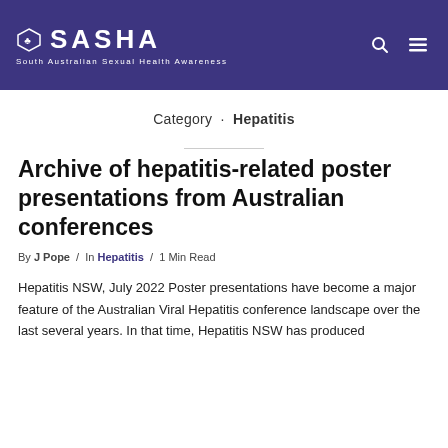SASHA – South Australian Sexual Health Awareness
Category · Hepatitis
Archive of hepatitis-related poster presentations from Australian conferences
By J Pope / In Hepatitis / 1 Min Read
Hepatitis NSW, July 2022 Poster presentations have become a major feature of the Australian Viral Hepatitis conference landscape over the last several years. In that time, Hepatitis NSW has produced